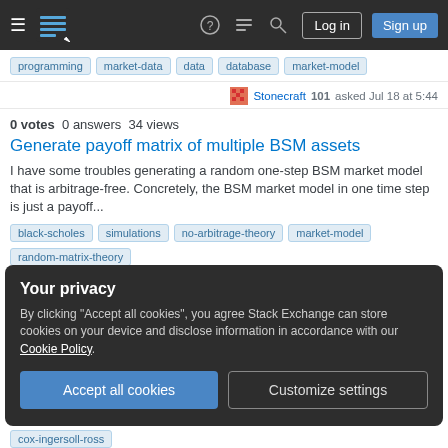Stack Exchange navigation bar with Log in and Sign up buttons
Tags: programming, market-data, data, database, market-model
Stonecraft 101 asked Jul 18 at 5:44
0 votes  0 answers  34 views
Generate payoff matrix of multiple BSM assets
I have some troubles generating a random one-step BSM market model that is arbitrage-free. Concretely, the BSM market model in one time step is just a payoff...
Tags: black-scholes, simulations, no-arbitrage-theory, market-model, random-matrix-theory
asdf 63 asked May 16 at 17:27
Your privacy
By clicking "Accept all cookies", you agree Stack Exchange can store cookies on your device and disclose information in accordance with our Cookie Policy.
Accept all cookies | Customize settings
Tags: cox-ingersoll-ross